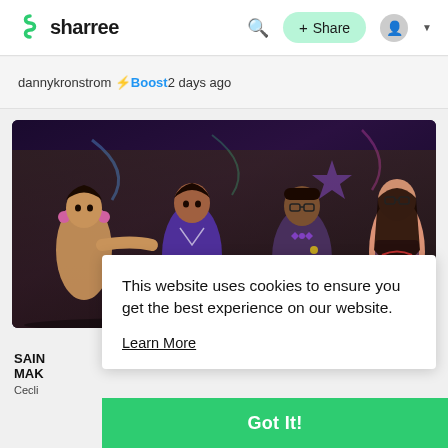sharree
dannykronstrom ⚡Boost 2 days ago
[Figure (photo): Screenshot of a Sharree website page showing four video game characters posed against a graffiti brick wall background. Characters include a shirtless man with headphones, a person in a purple jacket, a man in a suit with bowtie and glasses, and a woman in glasses with a red bag.]
This website uses cookies to ensure you get the best experience on our website.
Learn More
Got It!
SAIN MAK
Cecli